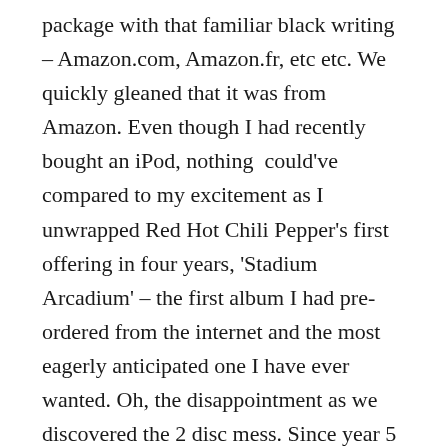package with that familiar black writing – Amazon.com, Amazon.fr, etc etc. We quickly gleaned that it was from Amazon. Even though I had recently bought an iPod, nothing could've compared to my excitement as I unwrapped Red Hot Chili Pepper's first offering in four years, 'Stadium Arcadium' – the first album I had pre-ordered from the internet and the most eagerly anticipated one I have ever wanted. Oh, the disappointment as we discovered the 2 disc mess. Since year 5 I had been ridiculously into the Peppers, probably egged on by a favourite Kiwi teacher who rolled into school wearing a moth-eaten 'By The Way' t-shirt and chatted 'Californication' and calculators with us. The biggest hit was 'Dani California' as I could've predicted from this menagerie of sci-fi influences and country casuals, although 'Storm In A Teacup' sounded like a haka